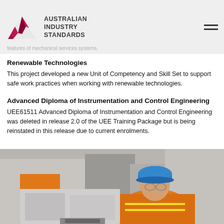Australian Industry Standards
support the skill needs of electricians engaged in the inspection,
features of mechanical services systems.
Renewable Technologies
This project developed a new Unit of Competency and Skill Set to support safe work practices when working with renewable technologies.
Advanced Diploma of Instrumentation and Control Engineering
UEE61511 Advanced Diploma of Instrumentation and Control Engineering was deleted in release 2.0 of the UEE Training Package but is being reinstated in this release due to current enrolments.
[Figure (photo): Worker in orange high-visibility vest and blue hard hat looking down at equipment at an industrial site]